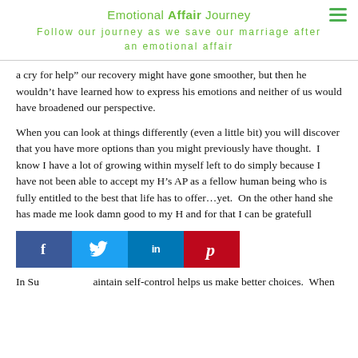Emotional Affair Journey
Follow our journey as we save our marriage after an emotional affair
a cry for help" our recovery might have gone smoother, but then he wouldn’t have learned how to express his emotions and neither of us would have broadened our perspective.
When you can look at things differently (even a little bit) you will discover that you have more options than you might previously have thought.  I know I have a lot of growing within myself left to do simply because I have not been able to accept my H’s AP as a fellow human being who is fully entitled to the best that life has to offer…yet.  On the other hand she has made me look damn good to my H and for that I can be gratefull
[Figure (infographic): Social sharing bar with Facebook, Twitter, LinkedIn, and Pinterest buttons]
In Su                    aintain self-control helps us make better choices.  When